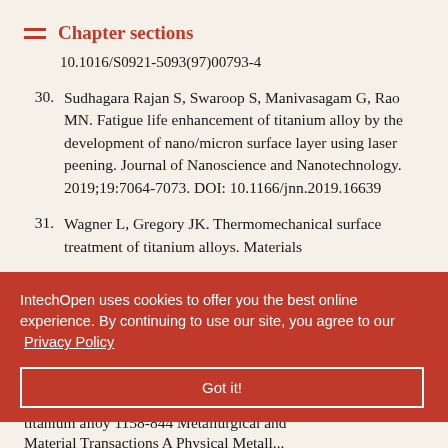Chapter sections
10.1016/S0921-5093(97)00793-4
30. Sudhagara Rajan S, Swaroop S, Manivasagam G, Rao MN. Fatigue life enhancement of titanium alloy by the development of nano/micron surface layer using laser peening. Journal of Nanoscience and Nanotechnology. 2019;19:7064-7073. DOI: 10.1166/jnn.2019.16639
31. Wagner L, Gregory JK. Thermomechanical surface treatment of titanium alloys. Materials ... DOI: ... 3-165.159
IntechOpen uses cookies to offer you the best online experience. By continuing to use our site, you agree to our Privacy Policy
Got it!
Effect of propagation metastable β titanium alloy 1158-844 Metallurgical and Material Transactions A Physical Metallurgy